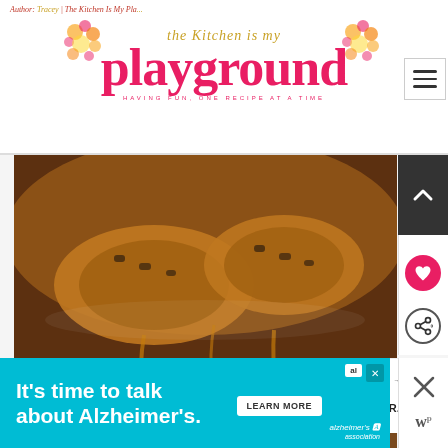The Kitchen Is My Playground — HAVING FUN, ONE RECIPE AT A TIME
[Figure (photo): Close-up photograph of cinnamon rolls or sticky buns topped with chopped pecans, being lifted with a spatula from a baking dish, glistening with syrup.]
WHAT'S NEXT → Overnight Cinnamon R...
It's time to talk about Alzheimer's.
LEARN MORE